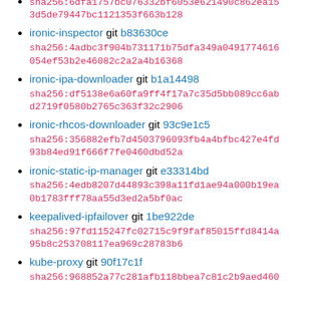sha256:6dfa1757bc076332bf6053e621490c862ea153d5de79447bc1121353f663b128 (continuation)
ironic-inspector git b83630ce sha256:4adbc3f904b731171b75dfa349a0491774616054ef53b2e46082c2a2a4b16368
ironic-ipa-downloader git b1a14498 sha256:df5138e6a60fa9ff4f17a7c35d5bb089cc6abd2719f0580b2765c363f32c2906
ironic-rhcos-downloader git 93c9e1c5 sha256:356882efb7d4503796093fb4a4bfbc427e4fd93b84ed91f666f7fe0460dbd52a
ironic-static-ip-manager git e33314bd sha256:4edb8207d44893c398a11fd1ae94a000b19ea0b1783fff78aa55d3ed2a5bf0ac
keepalived-ipfailover git 1be922de sha256:97fd115247fc02715c9f9faf85015ffd8414a95b8c253708117ea969c28783b6
kube-proxy git 90f17c1f sha256:968852a77c281afb118bbea7c81c2b9aed460